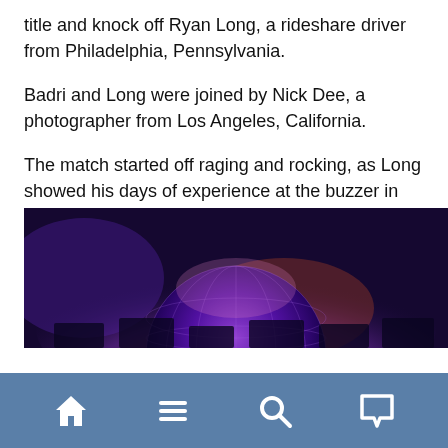title and knock off Ryan Long, a rideshare driver from Philadelphia, Pennsylvania.
Badri and Long were joined by Nick Dee, a photographer from Los Angeles, California.
The match started off raging and rocking, as Long showed his days of experience at the buzzer in the “Jeopardy!” round. He finished the first part of the show in the lead with $8,600, followed by Nick Dee with $4,000 and Divya Bardi with $400.
[Figure (photo): Jeopardy-style game show banner image with a glowing globe and neon letters on a dark purple and orange background, with silhouetted answer boards.]
Navigation bar with home, menu, search, and comment icons